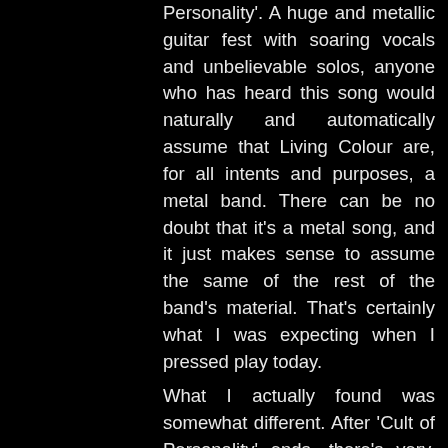Personality'. A huge and metallic guitar fest with soaring vocals and unbelievable solos, anyone who has heard this song would naturally and automatically assume that Living Colour are, for all intents and purposes, a metal band. There can be no doubt that it's a metal song, and it just makes sense to assume the same of the rest of the band's material. That's certainly what I was expecting when I pressed play today.
What I actually found was somewhat different. After 'Cult of Personality' ends, there's very, very little metal on the record. Rock, yes, but not metal. But this is no criticism, as Vivid is a fantastic and criminally underrated record. One of the f...